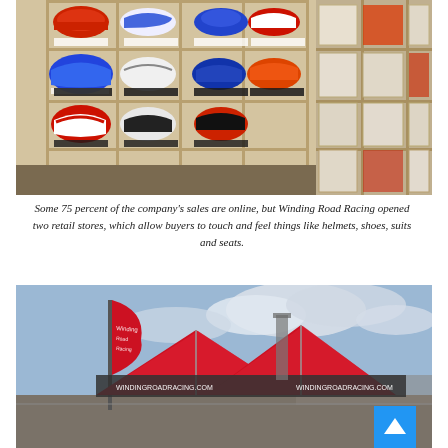[Figure (photo): Interior of a retail store showing wall shelving units filled with racing shoes and helmets in various colors (red, blue, white, black). Multiple cubby shelves display branded motorsport footwear and boxed products.]
Some 75 percent of the company's sales are online, but Winding Road Racing opened two retail stores, which allow buyers to touch and feel things like helmets, shoes, suits and seats.
[Figure (photo): Outdoor event setup showing Winding Road Racing branded tents and a tall feather banner flag at what appears to be a racing venue or track. The banner and tent display windingroadracing.com branding. Cloudy sky in background.]